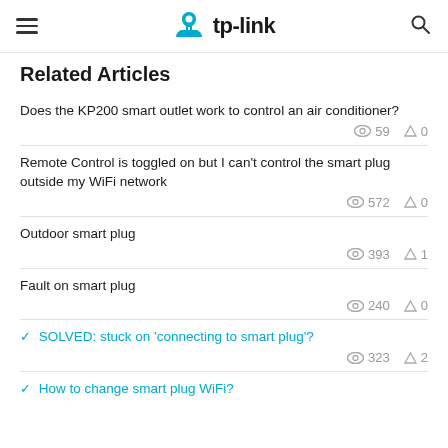tp-link
Related Articles
Does the KP200 smart outlet work to control an air conditioner? | 59 views | 0 replies
Remote Control is toggled on but I can't control the smart plug outside my WiFi network | 572 views | 0 replies
Outdoor smart plug | 393 views | 1 reply
Fault on smart plug | 240 views | 0 replies
SOLVED: stuck on 'connecting to smart plug'? | 323 views | 2 replies
How to change smart plug WiFi?